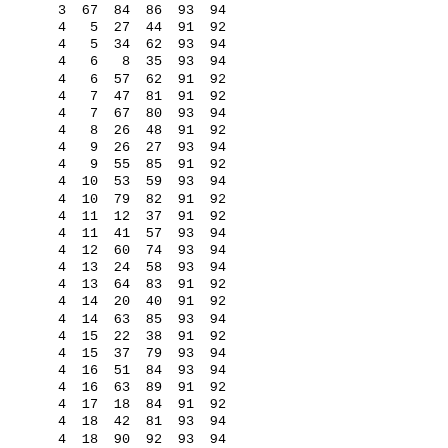| 3 | 67 | 84 | 86 | 93 | 94 |
| 4 | 5 | 27 | 44 | 91 | 92 |
| 4 | 5 | 34 | 62 | 93 | 94 |
| 4 | 6 | 8 | 35 | 93 | 94 |
| 4 | 6 | 57 | 62 | 91 | 92 |
| 4 | 7 | 47 | 81 | 91 | 92 |
| 4 | 7 | 67 | 80 | 93 | 94 |
| 4 | 8 | 26 | 48 | 91 | 92 |
| 4 | 9 | 26 | 27 | 93 | 94 |
| 4 | 9 | 55 | 85 | 91 | 92 |
| 4 | 10 | 53 | 59 | 93 | 94 |
| 4 | 10 | 79 | 82 | 91 | 92 |
| 4 | 11 | 12 | 37 | 91 | 92 |
| 4 | 11 | 41 | 57 | 93 | 94 |
| 4 | 12 | 60 | 74 | 93 | 94 |
| 4 | 13 | 24 | 58 | 93 | 94 |
| 4 | 13 | 64 | 83 | 91 | 92 |
| 4 | 14 | 20 | 40 | 91 | 92 |
| 4 | 14 | 63 | 85 | 93 | 94 |
| 4 | 15 | 22 | 38 | 91 | 92 |
| 4 | 15 | 37 | 79 | 93 | 94 |
| 4 | 16 | 51 | 84 | 93 | 94 |
| 4 | 16 | 63 | 89 | 91 | 92 |
| 4 | 17 | 18 | 84 | 91 | 92 |
| 4 | 18 | 42 | 81 | 93 | 94 |
| 4 | 18 | 90 | 92 | 93 | 94 |
| 4 | 19 | 38 | 71 | 93 | 94 |
| 4 | 19 | 46 | 49 | 91 | 92 |
| 4 | 20 | 32 | 44 | 93 | 94 |
| 4 | 21 | 23 | 49 | 93 | 94 |